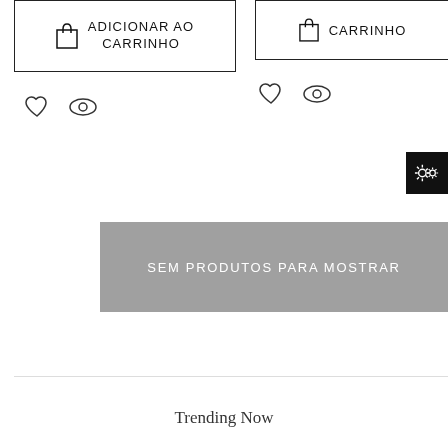[Figure (screenshot): Add to cart button (left) with shopping bag icon and text ADICIONAR AO CARRINHO]
[Figure (screenshot): Add to cart button (right) with shopping bag icon and text CARRINHO]
[Figure (screenshot): Heart (wishlist) and eye (quick view) icons on left side]
[Figure (screenshot): Heart (wishlist) and eye (quick view) icons on right side]
[Figure (screenshot): Black gear/settings button in top right corner]
SEM PRODUTOS PARA MOSTRAR
Trending Now